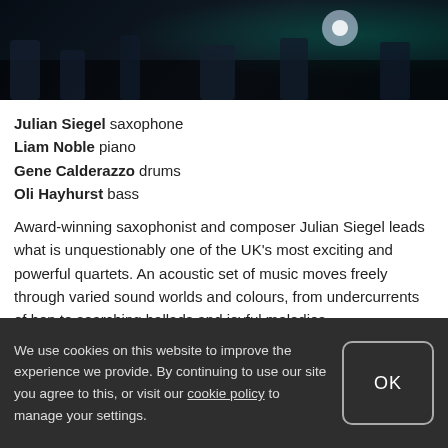[Figure (photo): Dark concert photo showing musicians on stage with teal/green stage lighting in the background]
Julian Siegel saxophone
Liam Noble piano
Gene Calderazzo drums
Oli Hayhurst bass
Award-winning saxophonist and composer Julian Siegel leads what is unquestionably one of the UK's most exciting and powerful quartets. An acoustic set of music moves freely through varied sound worlds and colours, from undercurrents of bop to searching ballads and joyful melodies.
We use cookies on this website to improve the experience we provide. By continuing to use our site you agree to this, or visit our cookie policy to manage your settings.